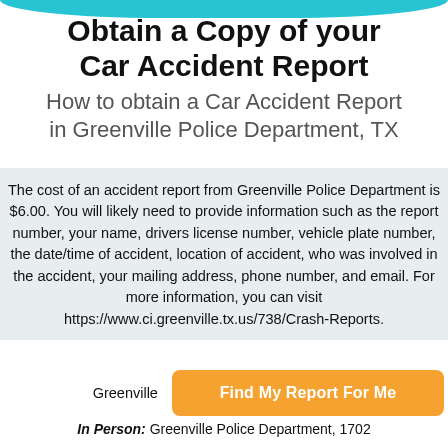[Figure (logo): Teal arc/logo at top of page]
Obtain a Copy of your Car Accident Report
How to obtain a Car Accident Report in Greenville Police Department, TX
The cost of an accident report from Greenville Police Department is $6.00. You will likely need to provide information such as the report number, your name, drivers license number, vehicle plate number, the date/time of accident, location of accident, who was involved in the accident, your mailing address, phone number, and email. For more information, you can visit https://www.ci.greenville.tx.us/738/Crash-Reports.
Greenville ... to get a ...
[Figure (other): Orange button labeled 'Find My Report For Me']
In Person: Greenville Police Department, 1702...